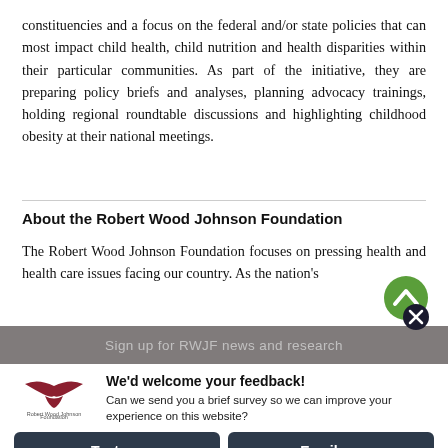constituencies and a focus on the federal and/or state policies that can most impact child health, child nutrition and health disparities within their particular communities. As part of the initiative, they are preparing policy briefs and analyses, planning advocacy trainings, holding regional roundtable discussions and highlighting childhood obesity at their national meetings.
About the Robert Wood Johnson Foundation
The Robert Wood Johnson Foundation focuses on pressing health and health care issues facing our country. As the nation's largest
Sign up for RWJF news and research
We'd welcome your feedback!
Can we send you a brief survey so we can improve your experience on this website?
Text me
Email me
Powered by ForeSee